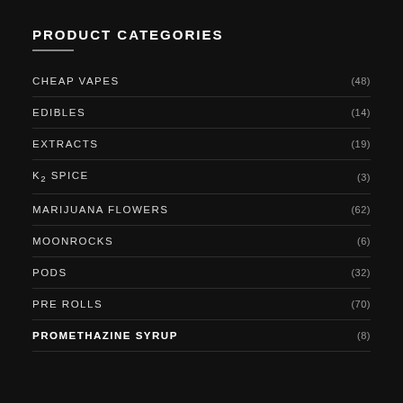PRODUCT CATEGORIES
CHEAP VAPES (48)
EDIBLES (14)
EXTRACTS (19)
K2 SPICE (3)
MARIJUANA FLOWERS (62)
MOONROCKS (6)
PODS (32)
PRE ROLLS (70)
PROMETHAZINE SYRUP (8)